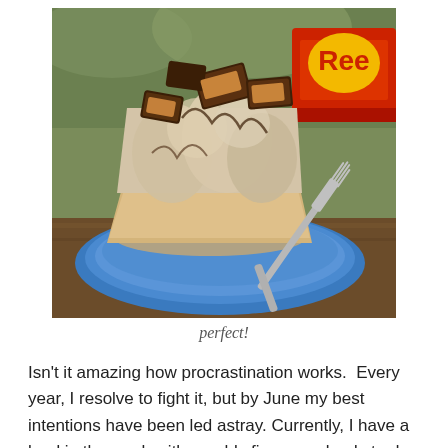[Figure (photo): A slice of peanut butter cup pie topped with chopped Reese's peanut butter cups and whipped cream filling, served on a blue plate with a fork. A red Reese's candy package is visible in the background.]
perfect!
Isn't it amazing how procrastination works.  Every year, I resolve to fight it, but by June my best intentions have been led astray. Currently, I have a load in the wash with roughly five more loads to do on top of the five loads that have been patiently waiting for weeks in the hallway to